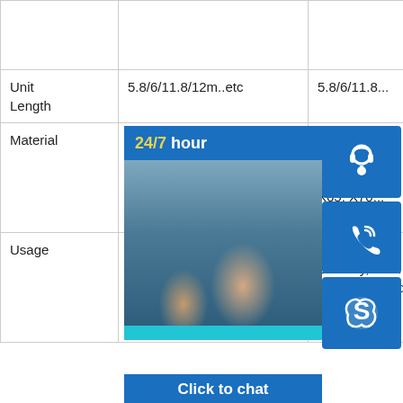|  | Column 2 | Column 3 |
| --- | --- | --- |
|  |  |  |
| Unit Length | 5.8/6/11.8/12m..etc | 5.8/6/11.8/... |
| Material | GR.B, X42, X46, X52, S355JOH, S355J2H, St 44.0, P265GH, P235GH, P265TR1 | GR.B, St S235, X42, X52, X56, X65, X70... |
| Usage | Chilled Water Pipe, Drinking water Pipe, Waste Water Pipe, Structural Tube, Fluid Pipe, Boiler Pipe, Oil... | Low Pressure Liquid Delivery, such as water, gas and oil. | Low Pressure Liquid Delivery, such as water, gas and oil. |